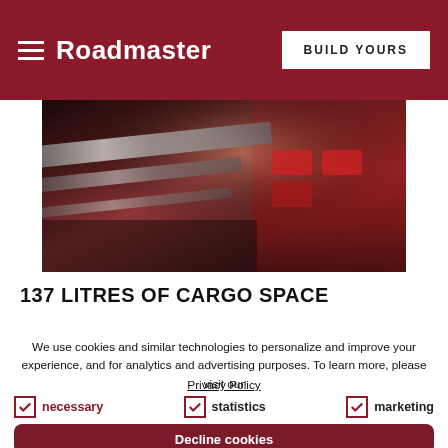Roadmaster  BUILD YOURS
[Figure (photo): Close-up photo of a motorcycle's rear section showing chrome accents and dark red bodywork]
137 LITRES OF CARGO SPACE
We use cookies and similar technologies to personalize and improve your experience, and for analytics and advertising purposes. To learn more, please visit our
Privacy Policy
necessary  statistics  marketing
Decline cookies
Accept cookies